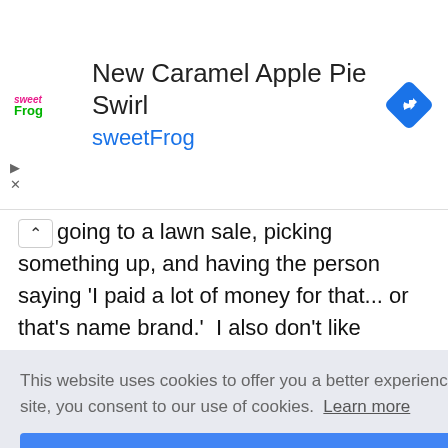[Figure (screenshot): sweetFrog advertisement banner with logo, 'New Caramel Apple Pie Swirl' title, 'sweetFrog' subtitle in blue, and a blue diamond navigation/directions icon on the right. Small play and close controls on the left.]
going to a lawn sale, picking something up, and having the person saying 'I paid a lot of money for that... or that's name brand.'  I also don't like having all eyes on me when I'm browsing.  LOL That's my 2 cents."
This website uses cookies to offer you a better experience. If you use this site, you consent to our use of cookies.  Learn more
I Agree
know when most businesses in town pay their